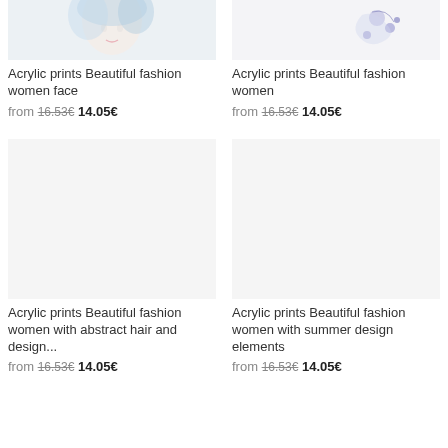[Figure (photo): Watercolor illustration of a beautiful fashion woman face with blue tones]
Acrylic prints Beautiful fashion women face
from 16.53€ 14.05€
[Figure (photo): Watercolor illustration of a beautiful fashion woman with abstract elements]
Acrylic prints Beautiful fashion women
from 16.53€ 14.05€
[Figure (photo): Watercolor illustration of a beautiful fashion woman with abstract hair and design elements]
Acrylic prints Beautiful fashion women with abstract hair and design...
from 16.53€ 14.05€
[Figure (photo): Watercolor illustration of a beautiful fashion woman with summer design elements]
Acrylic prints Beautiful fashion women with summer design elements
from 16.53€ 14.05€